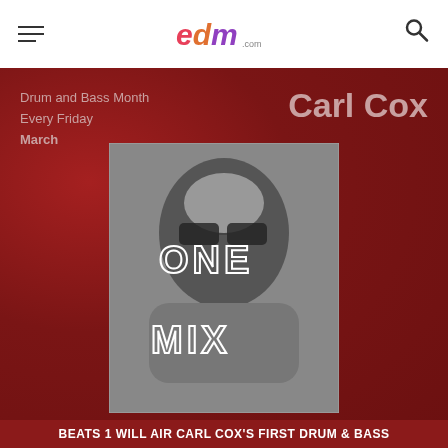edm.com
Drum and Bass Month
Every Friday
March
Carl Cox
[Figure (photo): Black and white portrait of Carl Cox with hands covering his mouth, overlaid with white outlined text reading 'ONE MIX']
BEATS 1 WILL AIR CARL COX'S FIRST DRUM & BASS